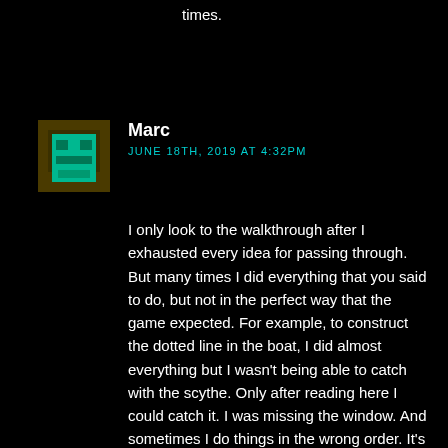times.
[Figure (illustration): Pixel art avatar of a character with a green face and dark olive/brown body, pixelated style on dark background]
Marc
JUNE 18TH, 2019 AT 4:32PM
I only look to the walkthrough after I exhausted every idea for passing through. But many times I did everything that you said to do, but not in the perfect way that the game expected. For example, to construct the dotted line in the boat, I did almost everything but I wasn't being able to catch with the scythe. Only after reading here I could catch it. I was missing the window. And sometimes I do things in the wrong order. It's a little bit frustrating! Anyway this games still amazing!